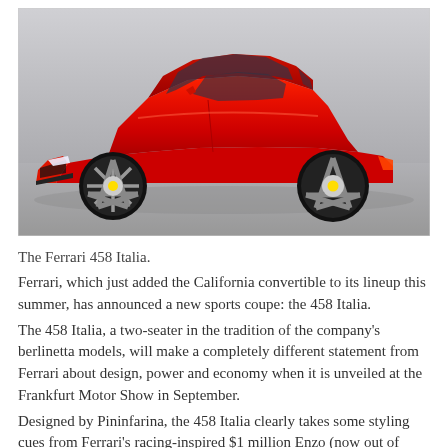[Figure (photo): Side profile photo of a red Ferrari 458 Italia sports car against a grey studio background]
The Ferrari 458 Italia.
Ferrari, which just added the California convertible to its lineup this summer, has announced a new sports coupe: the 458 Italia.
The 458 Italia, a two-seater in the tradition of the company’s berlinetta models, will make a completely different statement from Ferrari about design, power and economy when it is unveiled at the Frankfurt Motor Show in September.
Designed by Pininfarina, the 458 Italia clearly takes some styling cues from Ferrari’s racing-inspired $1 million Enzo (now out of production). The name, 458 Italia, comes from its new 4.5-liter V-8 engine, which will be mounted behind the cockpit in a midrear layout. The engine features direct fuel